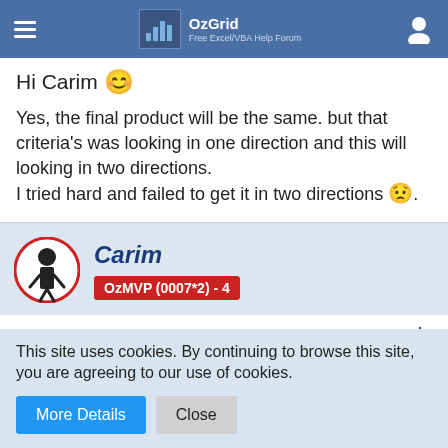OzGrid — Free Excel/VBA Help Forum
Hi Carim 😊
Yes, the final product will be the same. but that criteria's was looking in one direction and this will looking in two directions.
I tried hard and failed to get it in two directions 😟.
Carim
OzMVP (0007*2) - 4
Apr 28th 2021
This site uses cookies. By continuing to browse this site, you are agreeing to our use of cookies.